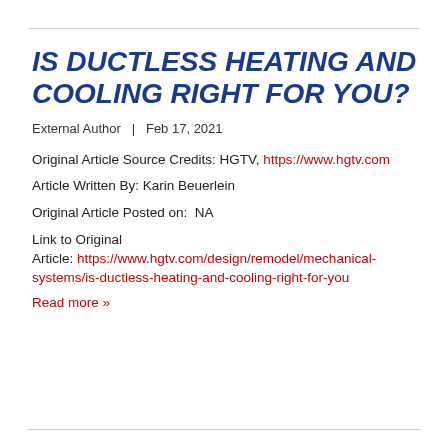IS DUCTLESS HEATING AND COOLING RIGHT FOR YOU?
External Author  |  Feb 17, 2021
Original Article Source Credits: HGTV, https://www.hgtv.com
Article Written By: Karin Beuerlein
Original Article Posted on:  NA
Link to Original
Article: https://www.hgtv.com/design/remodel/mechanical-systems/is-ductless-heating-and-cooling-right-for-you
Read more »